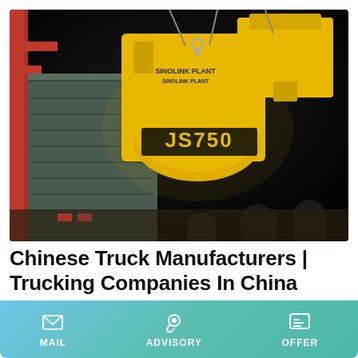[Figure (photo): Night-time photo of a yellow JS750 concrete mixer (SINOLINK PLANT branded) being lifted by a crane and loaded into a shipping container, with workers in the background]
Chinese Truck Manufacturers | Trucking Companies In China
U Shape Body Universal Dump Truck Made in China For Quarry Sites Cummins 420HP 8X4 70Ton. Shacman 6X6
MAIL   ADVISORY   OFFER